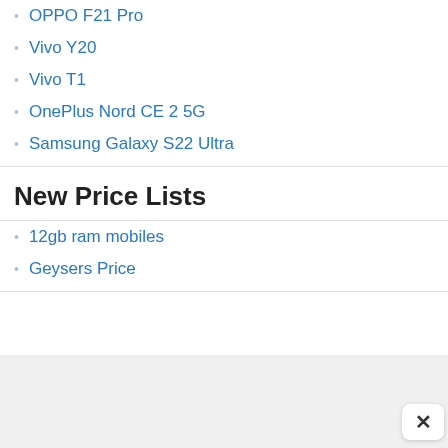OPPO F21 Pro
Vivo Y20
Vivo T1
OnePlus Nord CE 2 5G
Samsung Galaxy S22 Ultra
New Price Lists
12gb ram mobiles
Geysers Price